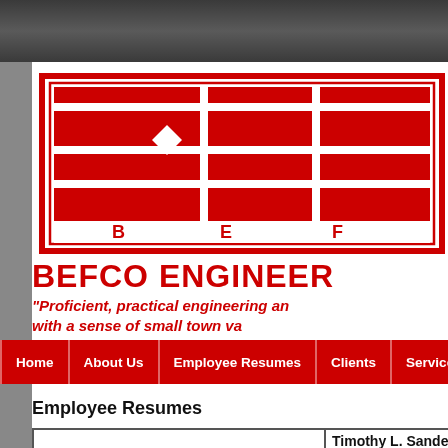[Figure (logo): BEFCO Engineering logo — large red rectangular frame with geometric B-E-F-style letterforms inside, letters B E F below the graphic]
BEFCO ENGINEER
“Proficient, practical engineering an with a sense of small town va
[Figure (screenshot): Navigation bar with items: Home, About Us, Employee Resumes, Clients, Services & P]
Employee Resumes
Timothy L. Sanders,
Bachelor of Science i
Texas A & M Universi
Chi Epsilon, National